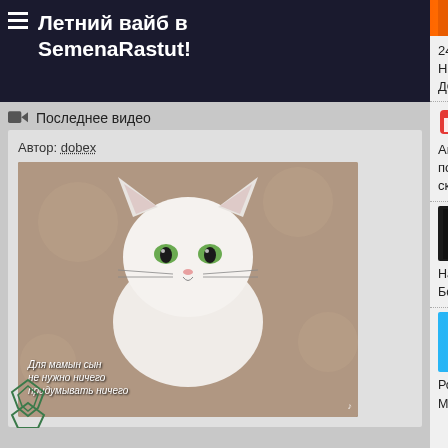Летний вайб в SemenaRastut!
Последнее видео
Автор: dobex
[Figure (photo): Video thumbnail showing a white fluffy cat with text overlay and TikTok watermark]
[Figure (logo): Red/orange/green sale banner with '30%' style text]
24/7 Бонусы в каждый заказ Наложенный платеж СТЕЛС ДОСТАВКА
[Figure (logo): ГЕНПЛАН logo with red building icon]
Анонимная доставка через постаматы. Бонусные орехи и скидки.
[Figure (logo): GanjaSeeds dark banner logo]
Наложенный Платеж. Курьер. Бонусы. Скидки
[Figure (logo): Grow Seeds blue banner - семена конопли]
Розница от 1 семени - Опт от 5 штук. Минимальные цены.